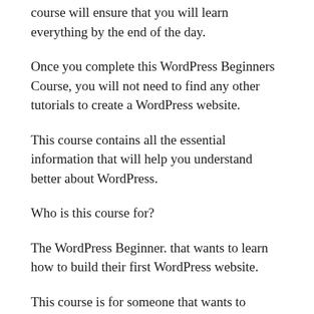course will ensure that you will learn everything by the end of the day.
Once you complete this WordPress Beginners Course, you will not need to find any other tutorials to create a WordPress website.
This course contains all the essential information that will help you understand better about WordPress.
Who is this course for?
The WordPress Beginner. that wants to learn how to build their first WordPress website.
This course is for someone that wants to refresh their WordPress skills.
Anyone who wants to start an online business with WordPress.